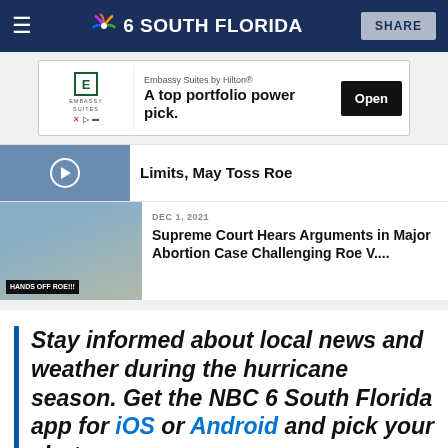NBC 6 South Florida | SHARE
[Figure (screenshot): Advertisement banner for Embassy Suites by Hilton: 'A top portfolio power pick.' with Open button]
Limits, May Toss Roe
[Figure (photo): Photo of protest with 'HANDS OFF ROE!!!' sign in front of Supreme Court building]
DEC 1, 2021
Supreme Court Hears Arguments in Major Abortion Case Challenging Roe V....
Stay informed about local news and weather during the hurricane season. Get the NBC 6 South Florida app for iOS or Android and pick your alerts.